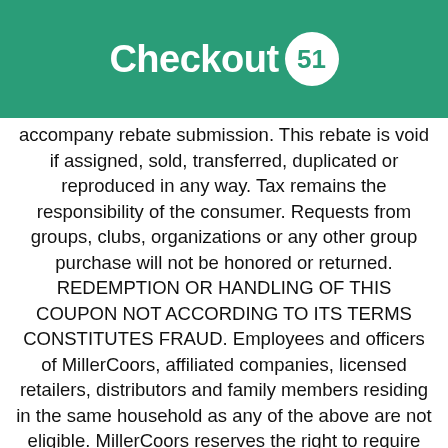Checkout 51
accompany rebate submission. This rebate is void if assigned, sold, transferred, duplicated or reproduced in any way. Tax remains the responsibility of the consumer. Requests from groups, clubs, organizations or any other group purchase will not be honored or returned. REDEMPTION OR HANDLING OF THIS COUPON NOT ACCORDING TO ITS TERMS CONSTITUTES FRAUD. Employees and officers of MillerCoors, affiliated companies, licensed retailers, distributors and family members residing in the same household as any of the above are not eligible. MillerCoors reserves the right to require additional information/identification prior to honoring rebate request and to reject non-conforming rebate requests without liability of any kind. Subject to Checkout51's Terms of Use. For rebate status/inquiries